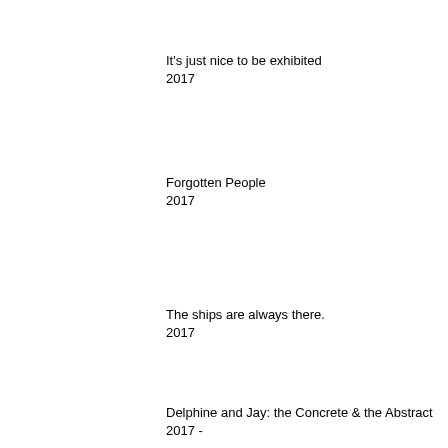It's just nice to be exhibited
2017
Forgotten People
2017
The ships are always there.
2017
Delphine and Jay: the Concrete & the Abstract
2017 -